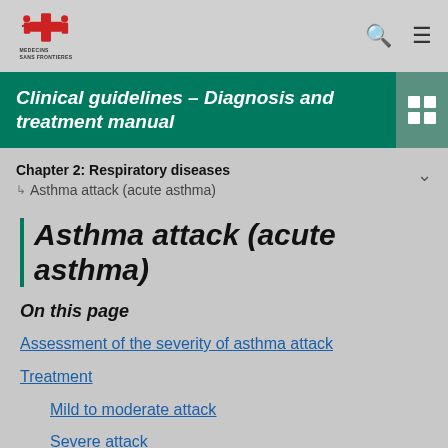[Figure (logo): Médecins Sans Frontières logo with red cross and text MEDECINS SANS FRONTIERES]
Clinical guidelines – Diagnosis and treatment manual
Chapter 2: Respiratory diseases
Asthma attack (acute asthma)
Asthma attack (acute asthma)
On this page
Assessment of the severity of asthma attack
Treatment
Mild to moderate attack
Severe attack